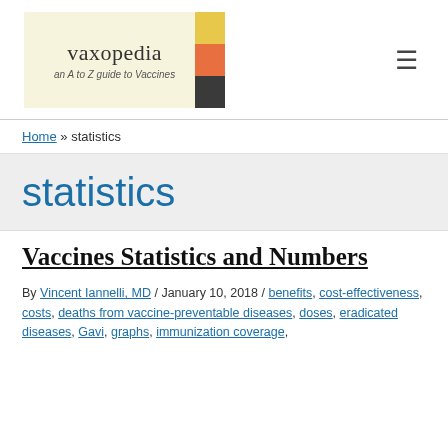[Figure (logo): Vaxopedia logo with site name 'vaxopedia', tagline 'an A to Z guide to Vaccines', colored blocks (yellow, orange, dark gray), and hamburger menu icon]
Home » statistics
statistics
Vaccines Statistics and Numbers
By Vincent Iannelli, MD / January 10, 2018 / benefits, cost-effectiveness, costs, deaths from vaccine-preventable diseases, doses, eradicated diseases, Gavi, graphs, immunization coverage,